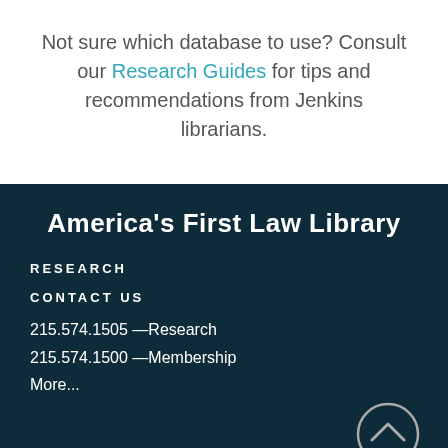Not sure which database to use? Consult our Research Guides for tips and recommendations from Jenkins librarians.
America's First Law Library
RESEARCH
CONTACT US
215.574.1505 —Research
215.574.1500 —Membership
More...
ADDRESS